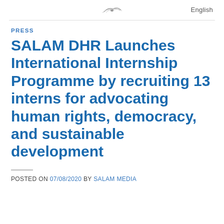English
PRESS
SALAM DHR Launches International Internship Programme by recruiting 13 interns for advocating human rights, democracy, and sustainable development
POSTED ON 07/08/2020 BY SALAM MEDIA